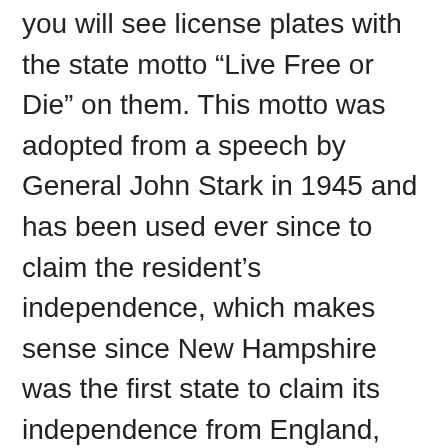you will see license plates with the state motto “Live Free or Die” on them. This motto was adopted from a speech by General John Stark in 1945 and has been used ever since to claim the resident’s independence, which makes sense since New Hampshire was the first state to claim its independence from England, prior to the Declaration of Independence. New Hampshire is filled with natural beauty, but tons of man-made attractions as well. It is also home to the oldest man-made attraction in the US, the Mount Washington Auto-Road, which was opened in 1861 and leads you to the highest peak in the Northeast.
There are tons of state parks throughout New Hampshire. One of the most well-known however is